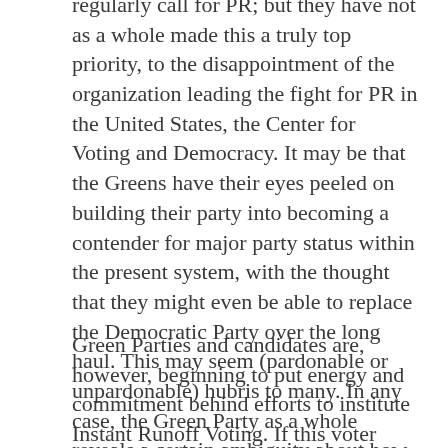regularly call for PR; but they have not as a whole made this a truly top priority, to the disappointment of the organization leading the fight for PR in the United States, the Center for Voting and Democracy. It may be that the Greens have their eyes peeled on building their party into becoming a contender for major party status within the present system, with the thought that they might even be able to replace the Democratic Party over the long haul. This may seem (pardonable or unpardonable) hubris to many. In any case, the Green Party as a whole reveals a certain ambiguity about how hard to push for PR..
Green Parties and candidates are, however, beginning to put energy and commitment behind efforts to institute Instant Runoff Voting. If this voter preferential system were in place for all